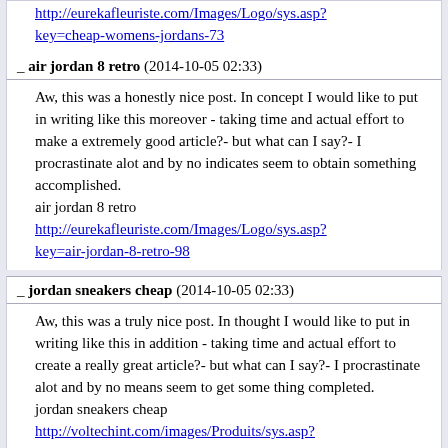http://eurekafleuriste.com/Images/Logo/sys.asp?key=cheap-womens-jordans-73
_ air jordan 8 retro (2014-10-05 02:33)
Aw, this was a honestly nice post. In concept I would like to put in writing like this moreover - taking time and actual effort to make a extremely good article?- but what can I say?- I procrastinate alot and by no indicates seem to obtain something accomplished.
air jordan 8 retro
http://eurekafleuriste.com/Images/Logo/sys.asp?key=air-jordan-8-retro-98
_ jordan sneakers cheap (2014-10-05 02:33)
Aw, this was a truly nice post. In thought I would like to put in writing like this in addition - taking time and actual effort to create a really great article?- but what can I say?- I procrastinate alot and by no means seem to get some thing completed.
jordan sneakers cheap
http://voltechint.com/images/Produits/sys.asp?key=jordan-sneakers-cheap-42
_ cheap jordans for women (2014-10-05 02:33)
Your location is valueble for me. Thanks!
cheap jordans for women